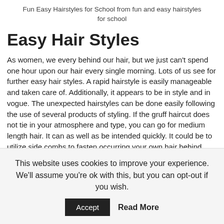Fun Easy Hairstyles for School from fun and easy hairstyles for school
Easy Hair Styles
As women, we every behind our hair, but we just can't spend one hour upon our hair every single morning. Lots of us see for further easy hair styles. A rapid hairstyle is easily manageable and taken care of. Additionally, it appears to be in style and in vogue. The unexpected hairstyles can be done easily following the use of several products of styling. If the gruff haircut does not tie in your atmosphere and type, you can go for medium length hair. It can as well as be intended quickly. It could be to utilize side combs to fasten occurring your own hair behind. You may in addition to put rollers in your hair the previous night, next the bordering daylight you will have waves. For medium length hair, you next have other to get a ponytail.
This website uses cookies to improve your experience. We'll assume you're ok with this, but you can opt-out if you wish. Accept Read More